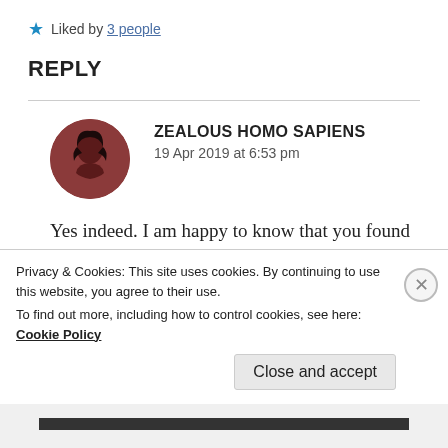Liked by 3 people
REPLY
[Figure (photo): Circular avatar image of a person with dark hair against a dark reddish-brown background]
ZEALOUS HOMO SAPIENS
19 Apr 2019 at 6:53 pm
Yes indeed. I am happy to know that you found them relatable. Yes I hope people realise this [continues below]
Privacy & Cookies: This site uses cookies. By continuing to use this website, you agree to their use.
To find out more, including how to control cookies, see here: Cookie Policy
Close and accept